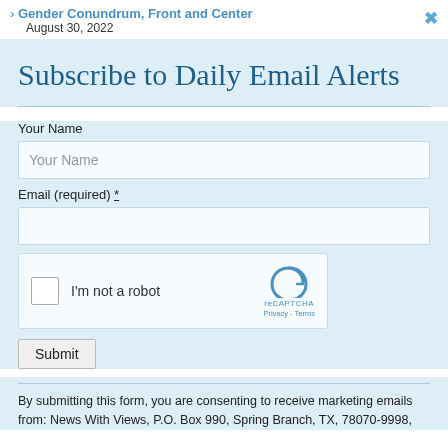> Gender Conundrum, Front and Center
August 30, 2022
Subscribe to Daily Email Alerts
Your Name
Email (required) *
[Figure (other): reCAPTCHA widget with checkbox labeled 'I'm not a robot' and reCAPTCHA logo with Privacy - Terms links]
Submit
By submitting this form, you are consenting to receive marketing emails from: News With Views, P.O. Box 990, Spring Branch, TX, 78070-9998,